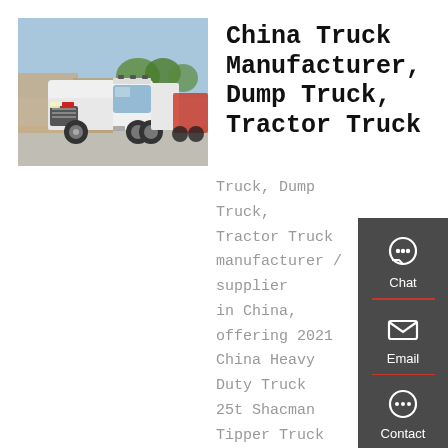[Figure (photo): White heavy-duty tractor truck (Sinotruk HOWO style) parked in a lot with trees and buildings in the background. The truck is white with chrome details.]
China Truck Manufacturer, Dump Truck, Tractor Truck
Truck, Dump Truck, Tractor Truck manufacturer / supplier in China, offering 2021 China Heavy Duty Truck 25t Shacman Tipper Truck for Hot Sale, 2021 Hot Sale New Sinotruk HOWO 6X4 Dump Truck Price, 2021 Brand New Shacman